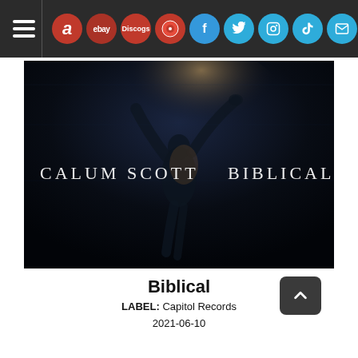Navigation bar with hamburger menu and icons: amazon, ebay, Discogs, LP, Facebook, Twitter, Instagram, TikTok, Mail
[Figure (photo): Album cover for 'Biblical' by Calum Scott. Dark underwater scene showing a person floating/sinking in dark blue-black water with arms raised. Text on left reads 'CALUM SCOTT' and on right reads 'BIBLICAL' in white serif letters.]
Biblical
LABEL: Capitol Records
2021-06-10